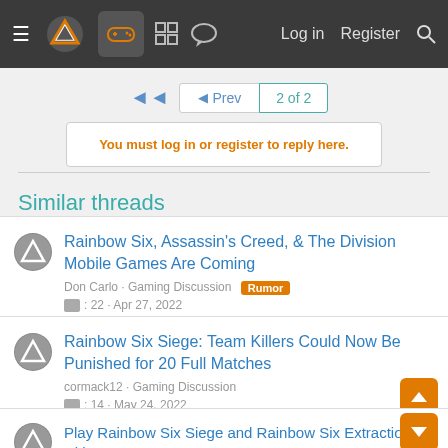Navigation bar with hamburger menu, logo, gamepad icon, grid icon, chat icon, Log in, Register, Search
◄◄  ◄ Prev  2 of 2
You must log in or register to reply here.
Similar threads
Rainbow Six, Assassin's Creed, & The Division Mobile Games Are Coming
Don Carlo · Gaming Discussion [Rumor]
💬 : 22 · Apr 27, 2022
Rainbow Six Siege: Team Killers Could Now Be Punished for 20 Full Matches
cormack12 · Gaming Discussion
💬 : 14 · May 24, 2022
Play Rainbow Six Siege and Rainbow Six Extraction with PC Game Pass
johnaldoo · Gaming Discussion